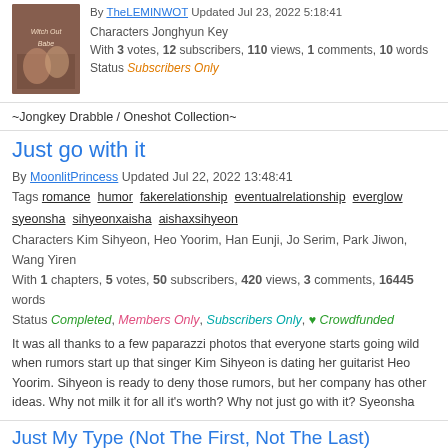[Figure (photo): Book cover thumbnail for a story, brownish tones with decorative text]
By TheLEMINWOT Updated Jul 23, 2022 5:18:41
Characters Jonghyun Key
With 3 votes, 12 subscribers, 110 views, 1 comments, 10 words
Status Subscribers Only
~Jongkey Drabble / Oneshot Collection~
Just go with it
By MoonlitPrincess Updated Jul 22, 2022 13:48:41
Tags romance humor fakerelationship eventualrelationship everglow syeonsha sihyeonxaisha aishaxsihyeon
Characters Kim Sihyeon, Heo Yoorim, Han Eunji, Jo Serim, Park Jiwon, Wang Yiren
With 1 chapters, 5 votes, 50 subscribers, 420 views, 3 comments, 16445 words
Status Completed, Members Only, Subscribers Only, ♥ Crowdfunded
It was all thanks to a few paparazzi photos that everyone starts going wild when rumors start up that singer Kim Sihyeon is dating her guitarist Heo Yoorim. Sihyeon is ready to deny those rumors, but her company has other ideas. Why not milk it for all it's worth? Why not just go with it? Syeonsha
Just My Type (Not The First, Not The Last)
By KwonHo Updated Jul 19, 2022 7:05:58
Tags jihoon humor seventeen jeonghan hoonhan bmkard jiwookard humanjeonghan sidepairingsoonsol witchijhoon demonjiw00